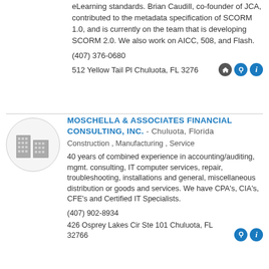eLearning standards. Brian Caudill, co-founder of JCA, contributed to the metadata specification of SCORM 1.0, and is currently on the team that is developing SCORM 2.0. We also work on AICC, 508, and Flash.
(407) 376-0680
512 Yellow Tail Pl Chuluota, FL 3276
MOSCHELLA & ASSOCIATES FINANCIAL CONSULTING, INC. - Chuluota, Florida
Construction , Manufacturing , Service
40 years of combined experience in accounting/auditing, mgmt. consulting, IT computer services, repair, troubleshooting, installations and general, miscellaneous distribution or goods and services. We have CPA's, CIA's, CFE's and Certified IT Specialists.
(407) 902-8934
426 Osprey Lakes Cir Ste 101 Chuluota, FL 32766